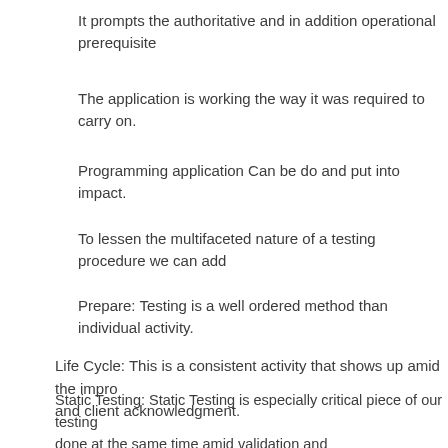It prompts the authoritative and in addition operational prerequisite
The application is working the way it was required to carry on.
Programming application Can be do and put into impact.
To lessen the multifaceted nature of a testing procedure we can add
Prepare: Testing is a well ordered method than individual activity.
Life Cycle: This is a consistent activity that shows up amid the impro and client acknowledgment.
Static Testing: Static Testing is especially critical piece of our testing done at the same time amid validation and acknowledgment. It include ju productive and enhanced method for testing and reducing the bugs. For